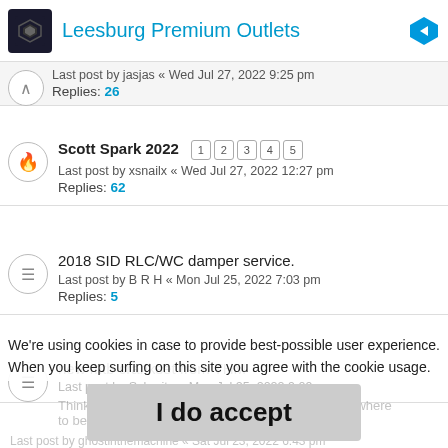[Figure (screenshot): Ad banner for Leesburg Premium Outlets with logo and blue diamond icon]
Last post by jasjas « Wed Jul 27, 2022 9:25 pm
Replies: 26
Scott Spark 2022 [1][2][3][4][5]
Last post by xsnailx « Wed Jul 27, 2022 12:27 pm
Replies: 62
2018 SID RLC/WC damper service.
Last post by B R H « Mon Jul 25, 2022 7:03 pm
Replies: 5
new mtb crankset from THM
Last post by Sybarite « Mon Jul 25, 2022 9:09 am
Replies: 2
We're using cookies in case to provide best-possible user experience.
When you keep surfing on this site you agree with the cookie usage.
Thinking about getting into cross-light MTB No idea where
to be ...
Last post by ghostinthemachine « Sat Jul 23, 2022 6:43 pm
I do accept